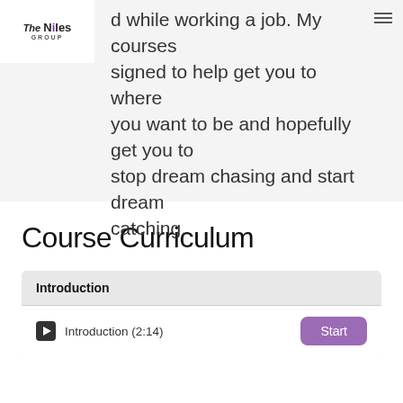d while working a job. My courses signed to help get you to where you want to be and hopefully get you to stop dream chasing and start dream catching.
Course Curriculum
Introduction
Introduction (2:14)